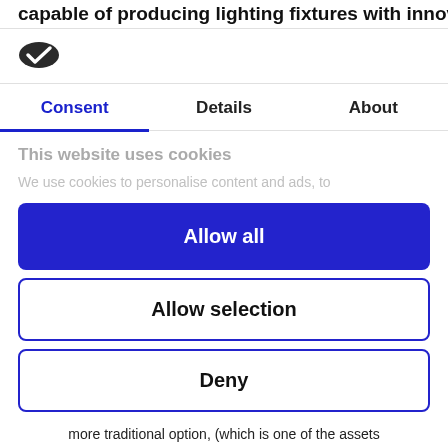capable of producing lighting fixtures with innovative
[Figure (logo): Cookiebot logo — dark oval with a white checkmark]
Consent	Details	About
This website uses cookies
We use cookies to personalise content and ads, to
Allow all
Allow selection
Deny
Powered by Cookiebot by Usercentrics
more traditional option, (which is one of the assets